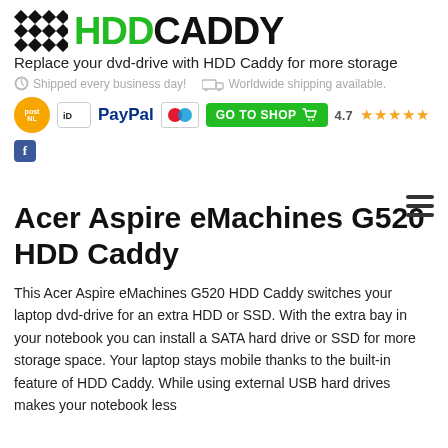[Figure (logo): HDD Caddy logo with diamond pattern and green HDD / black CADDY text]
Replace your dvd-drive with HDD Caddy for more storage
Shipped every business day!  Worldwide shipping available.
[Figure (infographic): Payment icons: PostNL, iDEAL, PayPal, Maestro/Mastercard; GO TO SHOP button with cart; 4.7 star rating and Facebook icon]
Acer Aspire eMachines G520 HDD Caddy
This Acer Aspire eMachines G520 HDD Caddy switches your laptop dvd-drive for an extra HDD or SSD. With the extra bay in your notebook you can install a SATA hard drive or SSD for more storage space. Your laptop stays mobile thanks to the built-in feature of HDD Caddy. While using external USB hard drives makes your notebook less